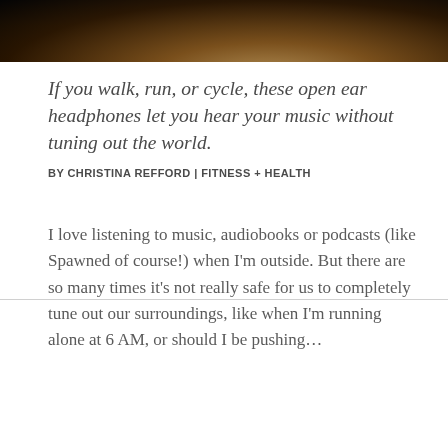[Figure (photo): Cropped photo of a person outdoors, showing neck and lower face, warm skin tones, dark background]
If you walk, run, or cycle, these open ear headphones let you hear your music without tuning out the world.
BY CHRISTINA REFFORD | FITNESS + HEALTH
I love listening to music, audiobooks or podcasts (like Spawned of course!) when I'm outside. But there are so many times it's not really safe for us to completely tune out our surroundings, like when I'm running alone at 6 AM, or should I be pushing…